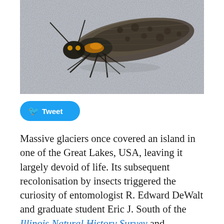[Figure (photo): Close-up macro photograph of a large insect (stonefly or similar) with mottled brown, black and yellow/orange markings on a light grey fabric background. The insect has visible legs, antennae, and patterned wings.]
[Figure (infographic): Twitter/Tweet button with bird icon on a light blue rounded rectangle background]
Massive glaciers once covered an island in one of the Great Lakes, USA, leaving it largely devoid of life. Its subsequent recolonisation by insects triggered the curiosity of entomologist R. Edward DeWalt and graduate student Eric J. South of the Illinois Natural History Survey and Department of Entomology. Not only did they prove there were significantly fewer species, compared to the mainland, but also